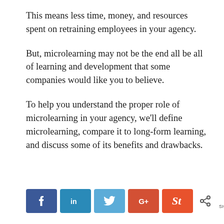This means less time, money, and resources spent on retraining employees in your agency.
But, microlearning may not be the end all be all of learning and development that some companies would like you to believe.
To help you understand the proper role of microlearning in your agency, we'll define microlearning, compare it to long-form learning, and discuss some of its benefits and drawbacks.
[Figure (other): Social sharing buttons: Facebook, LinkedIn, Twitter, Google+, StumbleUpon, and a share icon with 0 shares count]